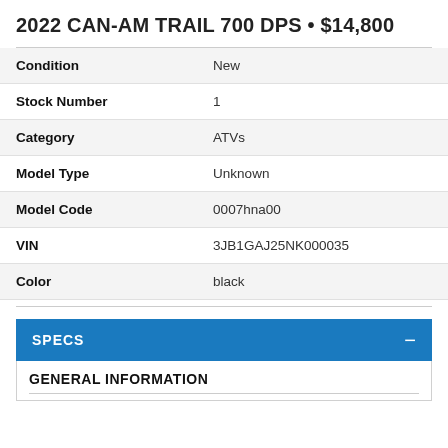2022 CAN-AM TRAIL 700 DPS • $14,800
| Attribute | Value |
| --- | --- |
| Condition | New |
| Stock Number | 1 |
| Category | ATVs |
| Model Type | Unknown |
| Model Code | 0007hna00 |
| VIN | 3JB1GAJ25NK000035 |
| Color | black |
SPECS
GENERAL INFORMATION